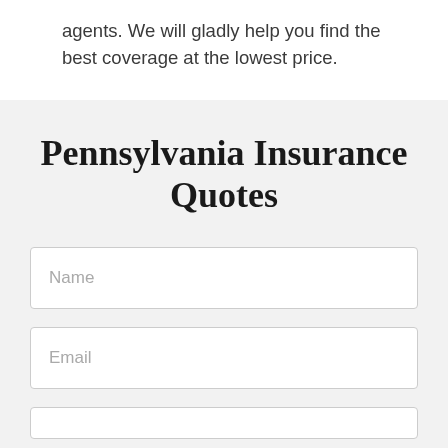agents. We will gladly help you find the best coverage at the lowest price.
Pennsylvania Insurance Quotes
Name
Email